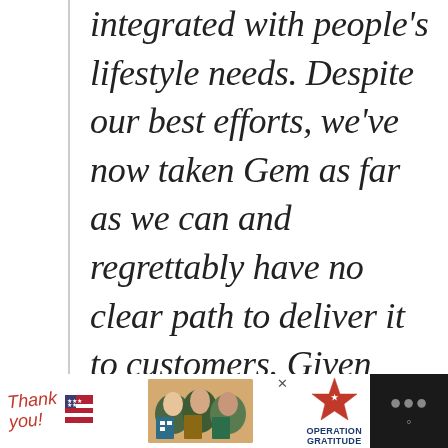integrated with people's lifestyle needs. Despite our best efforts, we've now taken Gem as far as we can and regrettably have no clear path to deliver it to customers. Given this, we have made the difficult decision to cease operations and shutdown
[Figure (infographic): Advertisement banner at bottom of page. Dark background with white content area showing 'Thank you!' handwritten text with US flag graphic, photo of nurses in masks holding cards, and Operation Gratitude logo with star. Close button (x) visible. Dark section on right with menu dots icon.]